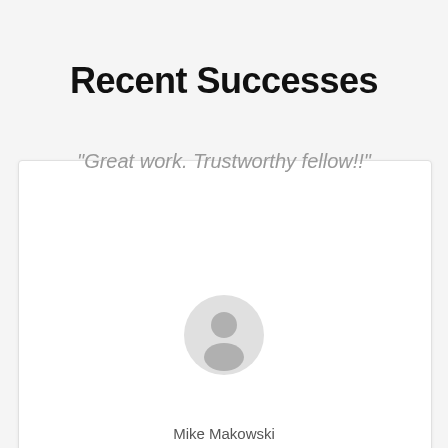Recent Successes
"Great work. Trustworthy fellow!!"
[Figure (photo): Circular avatar placeholder showing a generic grey silhouette of a person on a light grey background]
Mike Makowski